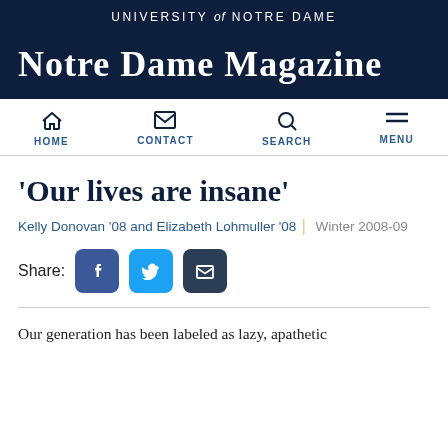UNIVERSITY of NOTRE DAME
Notre Dame Magazine
[Figure (screenshot): Navigation bar with HOME, CONTACT, SEARCH, MENU icons]
‘Our lives are insane’
Kelly Donovan ’08 and Elizabeth Lohmuller ’08 | Winter 2008-09
Share:
Our generation has been labeled as lazy, apathetic